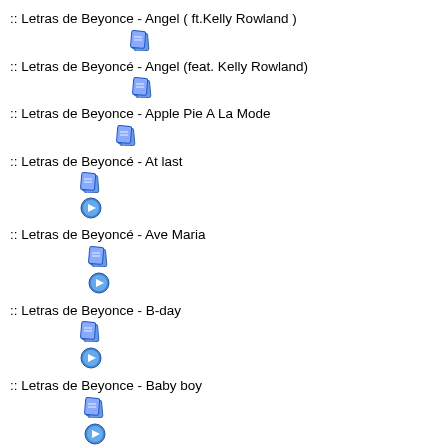:: Letras de Beyonce - Angel ( ft.Kelly Rowland )
:: Letras de Beyoncé - Angel (feat. Kelly Rowland)
:: Letras de Beyonce - Apple Pie A La Mode
:: Letras de Beyoncé - At last
:: Letras de Beyoncé - Ave Maria
:: Letras de Beyonce - B-day
:: Letras de Beyonce - Baby boy
:: Letras de Beyonce - Baby boy (album version)
:: Letras de Beyoncé - Baby Boy (feat. Sean Paul)
:: Letras de Beyoncé - Baby Boy(cd Version)